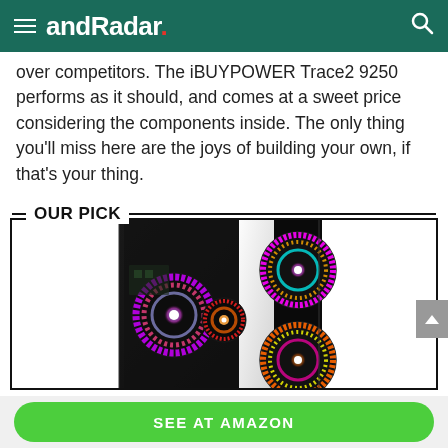andRadar.
over competitors. The iBUYPOWER Trace2 9250 performs as it should, and comes at a sweet price considering the components inside. The only thing you'll miss here are the joys of building your own, if that's your thing.
OUR PICK
[Figure (photo): Gaming PC tower with RGB fans and transparent side panel showing internal components]
SEE AT AMAZON